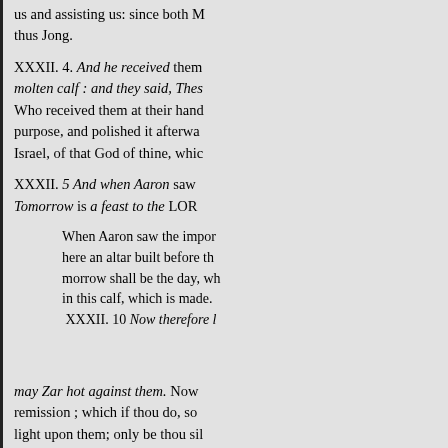us and assisting us: since both M
thus Jong.
XXXII. 4. And he received them molten calf : and they said, Thes Who received them at their hand purpose, and polished it afterwa Israel, of that God of thine, whic
XXXII. 5 And when Aaron saw Tomorrow is a feast to the LORD
When Aaron saw the impor here an altar built before th morrow shall be the day, wh in this calf, which is made.
 XXXII. 10 Now therefore l
may Zar hot against them. Now remission ; which if thou do, so light upon them; only be thou sil
XXXII, 14 And the Lord repente Moses's request, did not go on to against them.